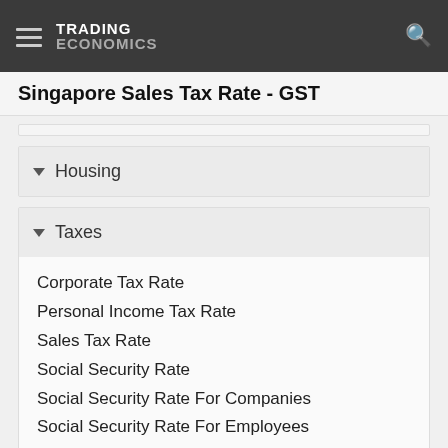TRADING ECONOMICS
Singapore Sales Tax Rate - GST
Housing
Taxes
Corporate Tax Rate
Personal Income Tax Rate
Sales Tax Rate
Social Security Rate
Social Security Rate For Companies
Social Security Rate For Employees
Climate
More Indicators